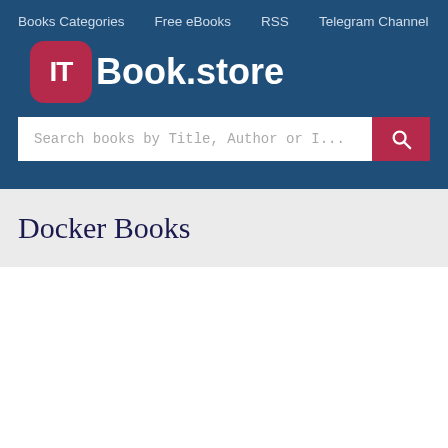Books Categories   Free eBooks   RSS   Telegram Channel
[Figure (logo): IT Book.store logo — pink rounded square with white IT text followed by Book.store in white bold text on dark blue background]
Search books by Title, Author or I...
Docker Books